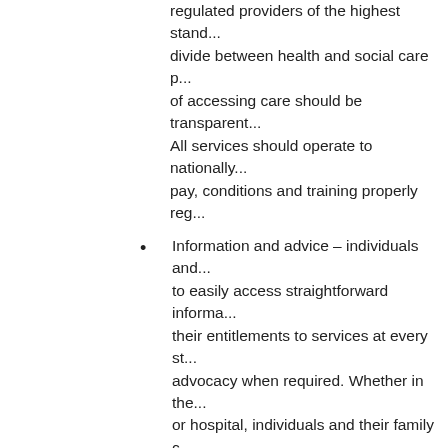regulated providers of the highest stand... divide between health and social care p... of accessing care should be transparent... All services should operate to nationally... pay, conditions and training properly reg...
Information and advice – individuals and... to easily access straightforward informa... their entitlements to services at every st... advocacy when required. Whether in the... or hospital, individuals and their family c... to receive information which clearly expl... care, how to access the services availab... service user.
Personalised care – a range of medical,... services to be made available, tailored to... circumstances and needs, delivered by a... based on holistic assessments carried o... care professionals in consultation with th... National Care Service there would be no...